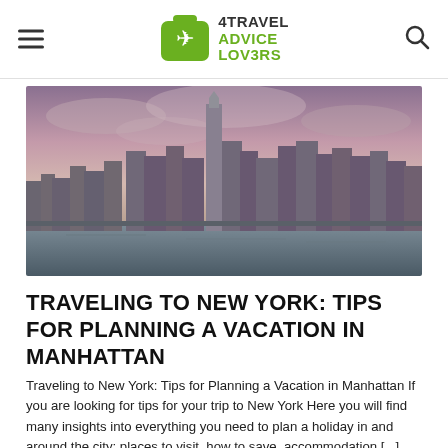4TRAVEL ADVICE LOVERS
[Figure (photo): Panoramic view of the Manhattan skyline at dusk with tall skyscrapers including One World Trade Center reflected over the water, dramatic cloudy sky with pink and purple hues]
TRAVELING TO NEW YORK: TIPS FOR PLANNING A VACATION IN MANHATTAN
Traveling to New York: Tips for Planning a Vacation in Manhattan If you are looking for tips for your trip to New York Here you will find many insights into everything you need to plan a holiday in and around the city: places to visit, how to save, accommodation [...]